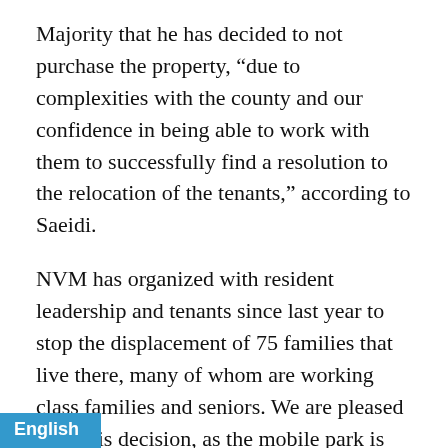Majority that he has decided to not purchase the property, “due to complexities with the county and our confidence in being able to work with them to successfully find a resolution to the relocation of the tenants,” according to Saeidi.
NVM has organized with resident leadership and tenants since last year to stop the displacement of 75 families that live there, many of whom are working class families and seniors. We are pleased with this decision, as the mobile park is one of the few housing options for working class families, and there is no comparable affordable housing available for relocation in Leesburg.
“After months of protests, meetings, and petitions, today we learned that the buyer is not moving forward with his plans to purchase and redevelop the park. The [residents] of Leesburg Mobile Park have demonstrated [that together they can cite to t...]
English